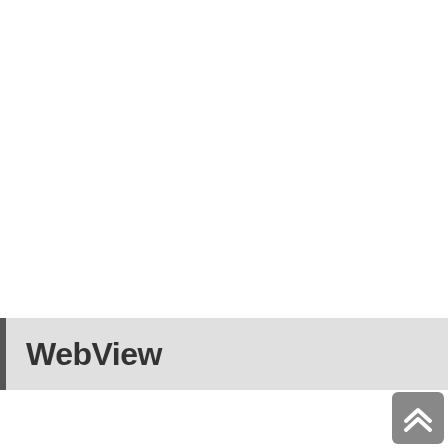WebView
[Figure (other): Scroll-to-top button with double chevron up arrow, grey rounded rectangle in bottom-right corner]